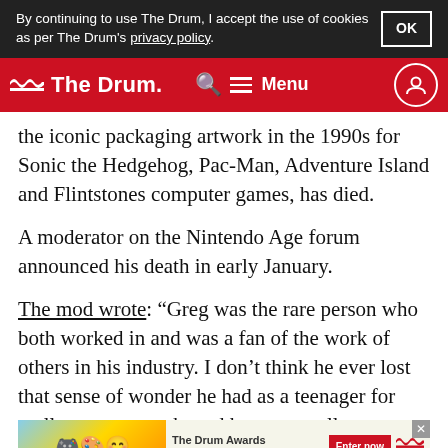By continuing to use The Drum, I accept the use of cookies as per The Drum's privacy policy.
The Drum — navigation bar with search and menu
the iconic packaging artwork in the 1990s for Sonic the Hedgehog, Pac-Man, Adventure Island and Flintstones computer games, has died.
A moderator on the Nintendo Age forum announced his death in early January.
The mod wrote: “Greg was the rare person who both worked in and was a fan of the work of others in his industry. I don’t think he ever lost that sense of wonder he had as a teenager for really great artwork, and he was a collector himself ... her things.